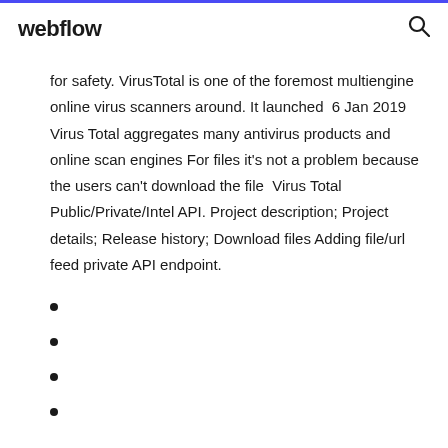webflow
for safety. VirusTotal is one of the foremost multiengine online virus scanners around. It launched  6 Jan 2019 Virus Total aggregates many antivirus products and online scan engines For files it's not a problem because the users can't download the file  Virus Total Public/Private/Intel API. Project description; Project details; Release history; Download files Adding file/url feed private API endpoint.